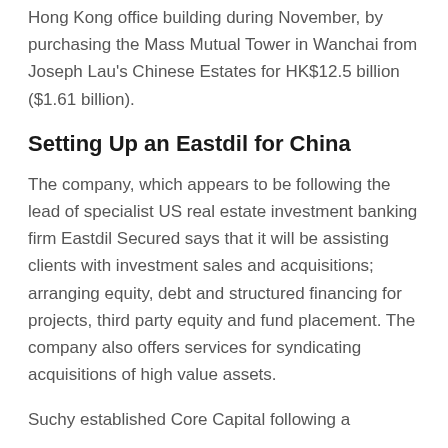Hong Kong office building during November, by purchasing the Mass Mutual Tower in Wanchai from Joseph Lau's Chinese Estates for HK$12.5 billion ($1.61 billion).
Setting Up an Eastdil for China
The company, which appears to be following the lead of specialist US real estate investment banking firm Eastdil Secured says that it will be assisting clients with investment sales and acquisitions; arranging equity, debt and structured financing for projects, third party equity and fund placement. The company also offers services for syndicating acquisitions of high value assets.
Suchy established Core Capital following a